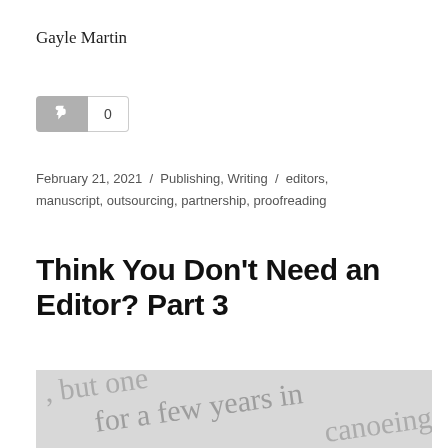Gayle Martin
[Figure (other): Like/thumbs-up button with count badge showing 0]
February 21, 2021 / Publishing, Writing / editors, manuscript, outsourcing, partnership, proofreading
Think You Don't Need an Editor? Part 3
[Figure (photo): Close-up black and white photo of printed text on a page, partially visible words including 'but one', 'for a few years in', 'canoeing']